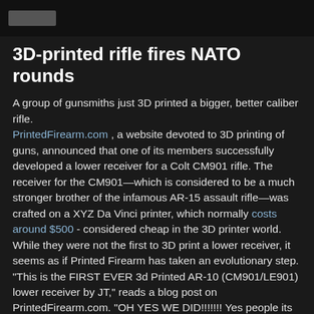3D-printed rifle fires NATO rounds
A group of gunsmiths just 3D printed a bigger, better caliber rifle. PrintedFirearm.com , a website devoted to 3D printing of guns, announced that one of its members successfully developed a lower receiver for a Colt CM901 rifle. The receiver for the CM901—which is considered to be a much stronger brother of the infamous AR-15 assault rifle—was crafted on a XYZ Da Vinci printer, which normally costs around $500 - considered cheap in the 3D printer world. While they were not the first to 3D print a lower receiver, it seems as if Printed Firearm has taken an evolutionary step. "This is the FIRST EVER 3d Printed AR-10 (CM901/LE901) lower receiver by JT," reads a blog post on PrintedFirearm.com. "OH YES WE DID!!!!!!! Yes people its pure awesome sauce and it has been tested, fired with little to no issues." The CM901 has a similar design to the AR-15 but can fire a heavier and more powerful 7.62 millimeter round, which